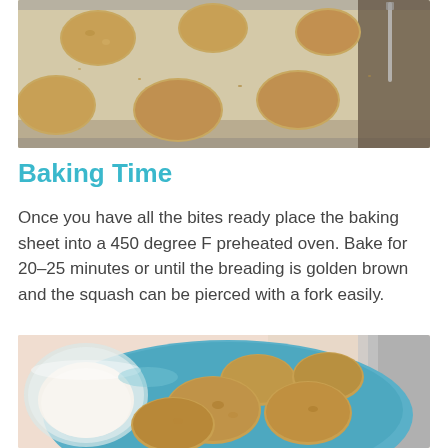[Figure (photo): Breaded squash bites arranged on a baking sheet lined with parchment paper, viewed from above]
Baking Time
Once you have all the bites ready place the baking sheet into a 450 degree F preheated oven. Bake for 20-25 minutes or until the breading is golden brown and the squash can be pierced with a fork easily.
[Figure (photo): Golden-brown breaded squash bites served on a blue plate with a small glass bowl of white dipping sauce]